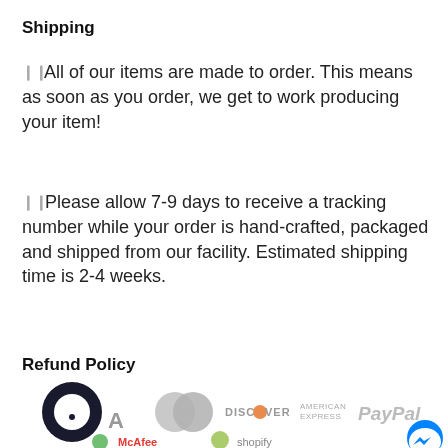Shipping
All of our items are made to order. This means as soon as you order, we get to work producing your item!
Please allow 7-9 days to receive a tracking number while your order is hand-crafted, packaged and shipped from our facility. Estimated shipping time is 2-4 weeks.
Refund Policy
[Figure (logo): Payment method logos: chat bubble logo, MasterCard, Discover, American Express, PayPal, McAfee, Shopify, and Messenger chat button]